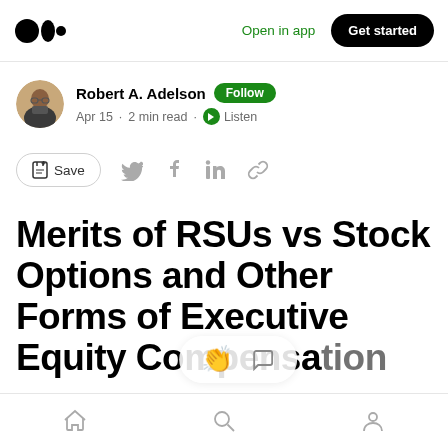Medium app header with logo, 'Open in app', 'Get started' button
Robert A. Adelson · Follow · Apr 15 · 2 min read · Listen
Save (bookmark icon), share icons: Twitter, Facebook, LinkedIn, link
Merits of RSUs vs Stock Options and Other Forms of Executive Equity Compensation
Bottom navigation bar: Home, Search, Profile